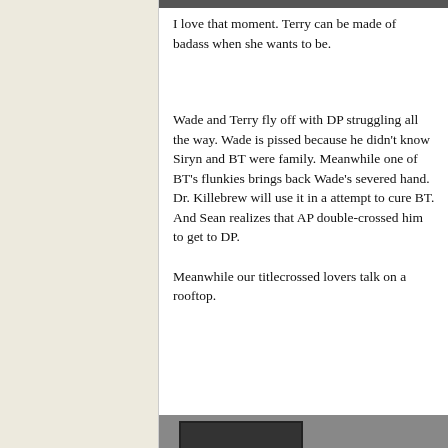[Figure (photo): Partial image at top of right column, cropped]
I love that moment. Terry can be made of badass when she wants to be.
Wade and Terry fly off with DP struggling all the way. Wade is pissed because he didn't know Siryn and BT were family. Meanwhile one of BT's flunkies brings back Wade's severed hand. Dr. Killebrew will use it in a attempt to cure BT. And Sean realizes that AP double-crossed him to get to DP.
Meanwhile our titlecrossed lovers talk on a rooftop.
[Figure (photo): Partial image at bottom of right column, cropped, showing comic panels]